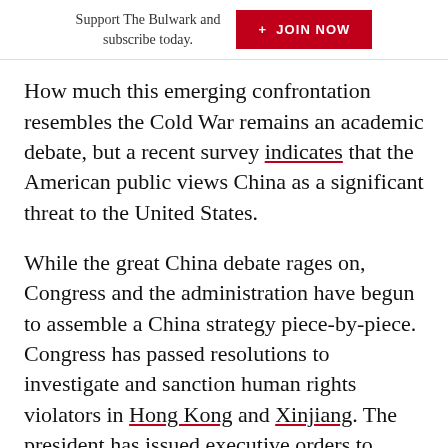Support The Bulwark and subscribe today. + JOIN NOW
How much this emerging confrontation resembles the Cold War remains an academic debate, but a recent survey indicates that the American public views China as a significant threat to the United States.
While the great China debate rages on, Congress and the administration have begun to assemble a China strategy piece-by-piece. Congress has passed resolutions to investigate and sanction human rights violators in Hong Kong and Xinjiang. The president has issued executive orders to respond to legitimate national security threats